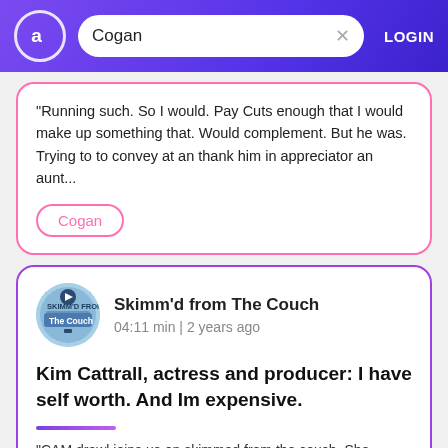Cogan — LOGIN
"Running such. So I would. Pay Cuts enough that I would make up something that. Would complement. But he was. Trying to to convey at an thank him in appreciator an aunt...
Cogan
Skimm'd from The Couch
04:11 min | 2 years ago
Kim Cattrall, actress and producer: I have self worth. And Im expensive.
"CAM drawl joins us on skimmed from the couch. She